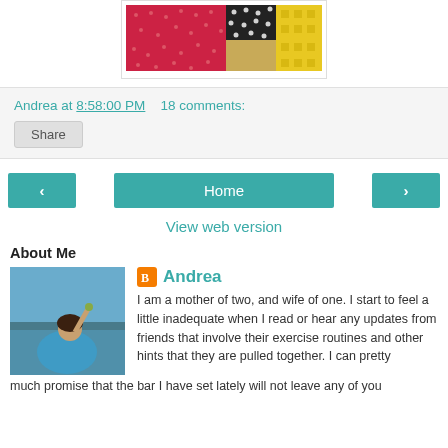[Figure (photo): Colorful fabric bags or purses - red with white dots, black with white dots, gold/tan, yellow patterned]
Andrea at 8:58:00 PM   18 comments:
Share
‹   Home   ›
View web version
About Me
[Figure (photo): Profile photo of Andrea, a woman standing by a lake raising her hand, wearing a blue top]
Andrea
I am a mother of two, and wife of one. I start to feel a little inadequate when I read or hear any updates from friends that involve their exercise routines and other hints that they are pulled together. I can pretty much promise that the bar I have set lately will not leave any of you